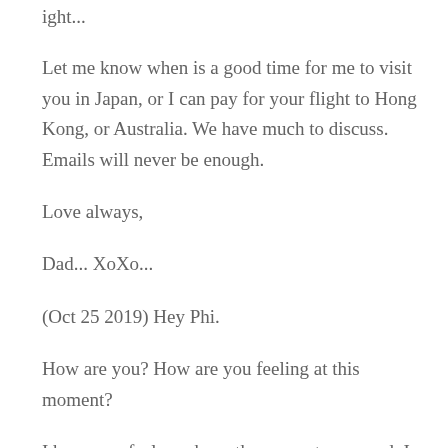ight...
Let me know when is a good time for me to visit you in Japan, or I can pay for your flight to Hong Kong, or Australia. We have much to discuss. Emails will never be enough.
Love always,
Dad... XoXo...
(Oct 25 2019) Hey Phi.
How are you? How are you feeling at this moment?
I hope you feel you have the support you need. I hope you can speak the truth in your heart. I hope you have people in your life who listen, really listen. I hope you